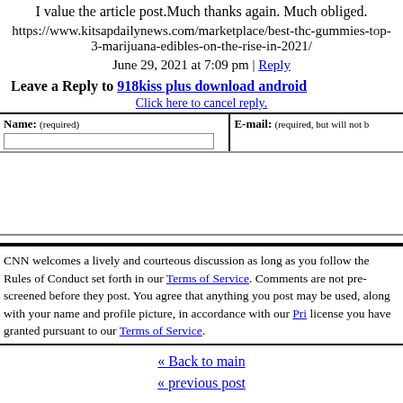I value the article post.Much thanks again. Much obliged.
https://www.kitsapdailynews.com/marketplace/best-thc-gummies-top-3-marijuana-edibles-on-the-rise-in-2021/
June 29, 2021 at 7:09 pm | Reply
Leave a Reply to 918kiss plus download android
Click here to cancel reply.
| Name: (required) | E-mail: (required, but will not be published) |
| --- | --- |
CNN welcomes a lively and courteous discussion as long as you follow the Rules of Conduct set forth in our Terms of Service. Comments are not pre-screened before they post. You agree that anything you post may be used, along with your name and profile picture, in accordance with our Privacy Policy and the license you have granted pursuant to our Terms of Service.
« Back to main
« previous post